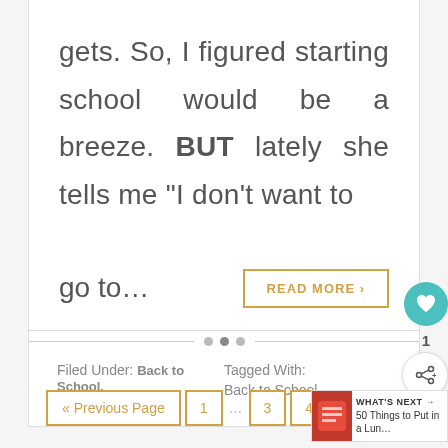gets. So, I figured starting school would be a breeze. BUT lately she tells me “I don’t want to go to…
READ MORE ›
Filed Under: Back to School, Uncategorized
Tagged With: Back to School
« Previous Page  1  …  3  4
WHAT’S NEXT → 50 Things to Put in a Lun…